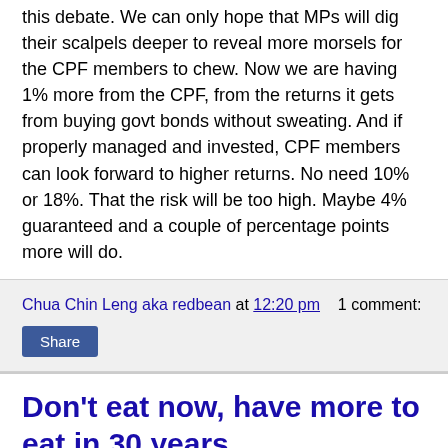this debate. We can only hope that MPs will dig their scalpels deeper to reveal more morsels for the CPF members to chew. Now we are having 1% more from the CPF, from the returns it gets from buying govt bonds without sweating. And if properly managed and invested, CPF members can look forward to higher returns. No need 10% or 18%. That the risk will be too high. Maybe 4% guaranteed and a couple of percentage points more will do.
Chua Chin Leng aka redbean at 12:20 pm   1 comment:
Share
Don't eat now, have more to eat in 30 years
What I would want to add on to the CPF debate is this. When you want to help the people to live better in the future, you either teach them to fish or you plant more seeds to reap more fruits later. You can also offer them a few loaves of